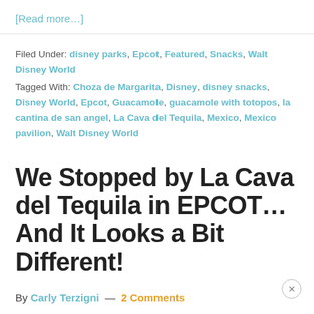[Read more…]
Filed Under: disney parks, Epcot, Featured, Snacks, Walt Disney World
Tagged With: Choza de Margarita, Disney, disney snacks, Disney World, Epcot, Guacamole, guacamole with totopos, la cantina de san angel, La Cava del Tequila, Mexico, Mexico pavilion, Walt Disney World
We Stopped by La Cava del Tequila in EPCOT…And It Looks a Bit Different!
By Carly Terzigni — 2 Comments
Today was the grand reopening of EPCOT! After a week of exploring Magic Kingdom and Animal Kingdom, we've been hopping around Walt Disney World Shopping for the…